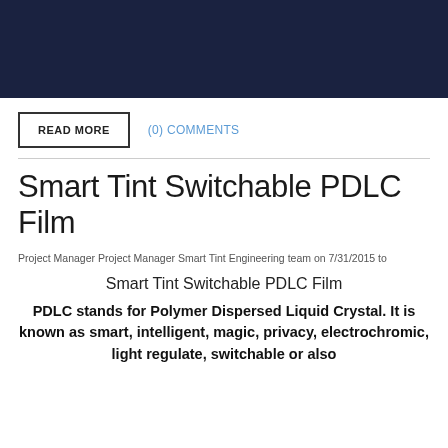[Figure (photo): Dark navy blue banner image at top of page]
READ MORE
(0) COMMENTS
Smart Tint Switchable PDLC Film
Project Manager Project Manager Smart Tint Engineering team on 7/31/2015 to
Smart Tint Switchable PDLC Film
PDLC stands for Polymer Dispersed Liquid Crystal. It is known as smart, intelligent, magic, privacy, electrochromic, light regulate, switchable or also